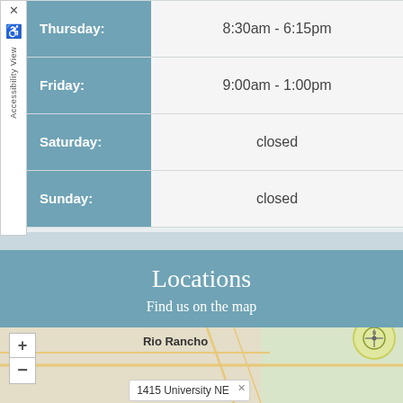| Day | Hours |
| --- | --- |
| Thursday: | 8:30am - 6:15pm |
| Friday: | 9:00am - 1:00pm |
| Saturday: | closed |
| Sunday: | closed |
Locations
Find us on the map
[Figure (map): Interactive map showing Rio Rancho area with zoom controls and a location popup showing '1415 University NE']
1415 University NE